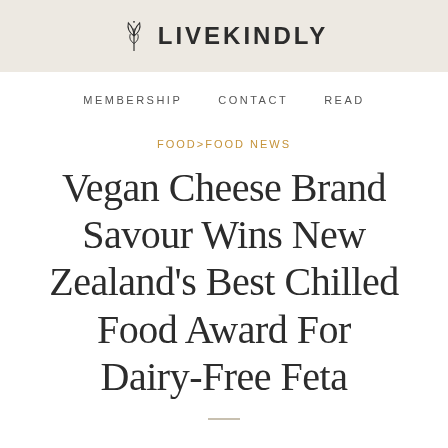LIVEKINDLY
MEMBERSHIP   CONTACT   READ
FOOD>FOOD NEWS
Vegan Cheese Brand Savour Wins New Zealand's Best Chilled Food Award For Dairy-Free Feta